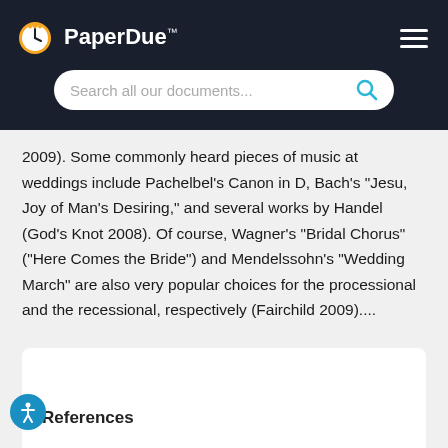PaperDue™ — Search all our documents...
2009). Some commonly heard pieces of music at weddings include Pachelbel's Canon in D, Bach's "Jesu, Joy of Man's Desiring," and several works by Handel (God's Knot 2008). Of course, Wagner's "Bridal Chorus" ("Here Comes the Bride") and Mendelssohn's "Wedding March" are also very popular choices for the processional and the recessional, respectively (Fairchild 2009)....
References